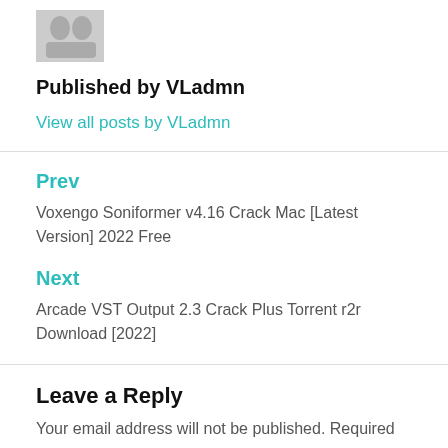[Figure (illustration): Grey avatar/user placeholder icon]
Published by VLadmn
View all posts by VLadmn
Prev
Voxengo Soniformer v4.16 Crack Mac [Latest Version] 2022 Free
Next
Arcade VST Output 2.3 Crack Plus Torrent r2r Download [2022]
Leave a Reply
Your email address will not be published. Required